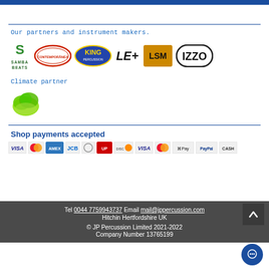[Figure (logo): Blue top navigation bar]
Our partners and instrument makers.
[Figure (logo): Partner logos: Samba Beats, Contemporânea, King, LE+, custom logo, IZZO]
Climate partner
[Figure (logo): Climate partner logo - green leaf/cloud shape]
Shop payments accepted
[Figure (logo): Payment method logos: Visa, Mastercard, American Express, JCB, Diners Club, UnionPay, Discover, Visa, Mastercard, Apple Pay, PayPal, Cash]
Tel 0044 7759943737 Email mail@jppercussion.com Hitchin Hertfordshire UK © JP Percussion Limited 2021-2022 Company Number 13765199